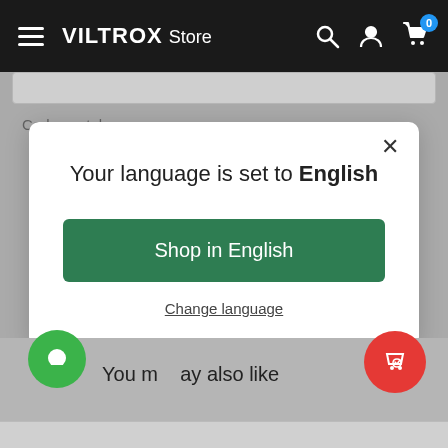[Figure (screenshot): VILTROX Store navigation bar with hamburger menu, brand name, search, account, and cart icons on black background]
Code postal
[Figure (screenshot): Modal dialog with text 'Your language is set to English', a green 'Shop in English' button, and a 'Change language' link. Close (X) button in top right.]
You may also like